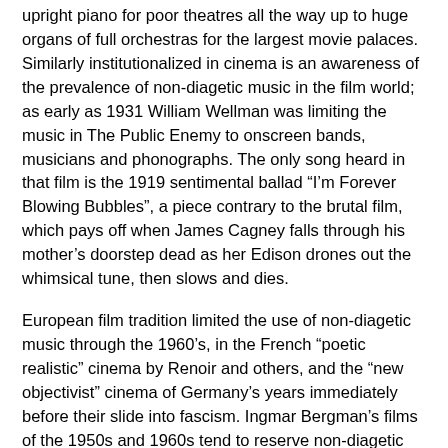upright piano for poor theatres all the way up to huge organs of full orchestras for the largest movie palaces. Similarly institutionalized in cinema is an awareness of the prevalence of non-diagetic music in the film world; as early as 1931 William Wellman was limiting the music in The Public Enemy to onscreen bands, musicians and phonographs. The only song heard in that film is the 1919 sentimental ballad “I’m Forever Blowing Bubbles”, a piece contrary to the brutal film, which pays off when James Cagney falls through his mother’s doorstep dead as her Edison drones out the whimsical tune, then slows and dies.
European film tradition limited the use of non-diagetic music through the 1960’s, in the French “poetic realistic” cinema by Renoir and others, and the “new objectivist” cinema of Germany’s years immediately before their slide into fascism. Ingmar Bergman’s films of the 1950s and 1960s tend to reserve non-diagetic music for moments of high drama or fantasy. And the modernist and post-modernist cinema of Europe often seeks to limit significantly or otherwise expose the use of non-diagetic music as in Antonioni’s Blowup, where the soundtrack eventually dwindles to silence, or